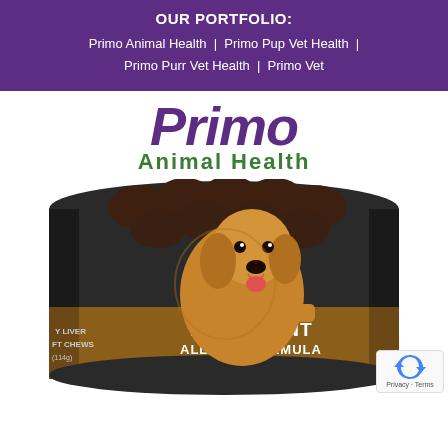OUR PORTFOLIO: Primo Animal Health | Primo Pup Vet Health | Primo Purr Vet Health | Primo Vet
[Figure (logo): Primo Animal Health logo with italic purple 'Primo' text and green 'Animal Health' subtitle]
[Figure (photo): Product jar of Primo Animal Health Hip & Joint All Dog Formula Soft Chews with glucosamine, chondroitin & MSM with Vitamin C, mobility support for dogs. A golden retriever dog is shown on the label. Partially visible text on left side: Y LIVER, FT CHEWS, (114g). Right side partially cut off showing CHONDRO text.]